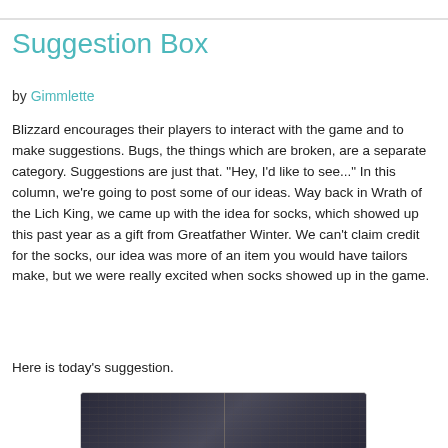Suggestion Box
by Gimmlette
Blizzard encourages their players to interact with the game and to make suggestions. Bugs, the things which are broken, are a separate category. Suggestions are just that. "Hey, I'd like to see..." In this column, we're going to post some of our ideas. Way back in Wrath of the Lich King, we came up with the idea for socks, which showed up this past year as a gift from Greatfather Winter. We can't claim credit for the socks, our idea was more of an item you would have tailors make, but we were really excited when socks showed up in the game.
Here is today's suggestion.
[Figure (photo): Dark stone or rocky game environment screenshot, split into two panels side by side]